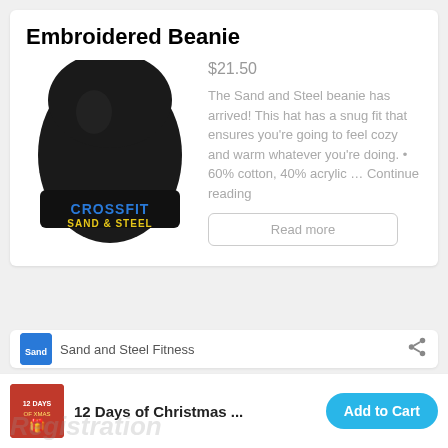Embroidered Beanie
[Figure (photo): Black embroidered beanie hat with 'CROSSFIT SAND & STEEL' text in blue and yellow on the brim]
$21.50
The Sand and Steel beanie has arrived! This hat has a snug fit that ensures you're going to feel cozy and warm whatever you're doing. • 60% cotton, 40% acrylic … Continue reading
Read more
Sand and Steel Fitness
12 Days of Christmas ...
Add to Cart
Registration